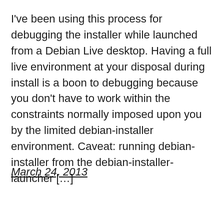I've been using this process for debugging the installer while launched from a Debian Live desktop. Having a full live environment at your disposal during install is a boon to debugging because you don't have to work within the constraints normally imposed upon you by the limited debian-installer environment. Caveat: running debian-installer from the debian-installer-launcher […]
March 24, 2013